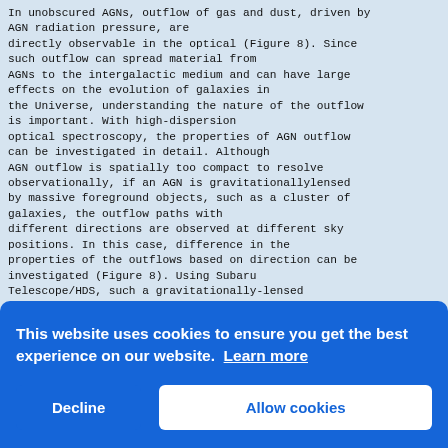In unobscured AGNs, outflow of gas and dust, driven by AGN radiation pressure, are directly observable in the optical (Figure 8). Since such outflow can spread material from AGNs to the intergalactic medium and can have large effects on the evolution of galaxies in the Universe, understanding the nature of the outflow is important. With high-dispersion optical spectroscopy, the properties of AGN outflow can be investigated in detail. Although AGN outflow is spatially too compact to resolve observationally, if an AGN is gravitationallylensed by massive foreground objects, such as a cluster of galaxies, the outflow paths with different directions are observed at different sky positions. In this case, difference in the properties of the outflows based on direction can be investigated (Figure 8). Using Subaru Telescope/HDS, such a gravitationally-lensed unobscured luminous AGN at z = 2.2 with wide[...] spe[...] prop[...] prov[...] view[...] uniq[...] AGN The the AGNs = 4 constrained, using the Subaru Telescope/FOCAS. The
[Figure (screenshot): Cookie consent overlay banner in blue with white text: 'This website uses cookies to ensure you get the best experience on our website. Learn more' and two buttons: 'Decline' and 'Allow cookies'.]